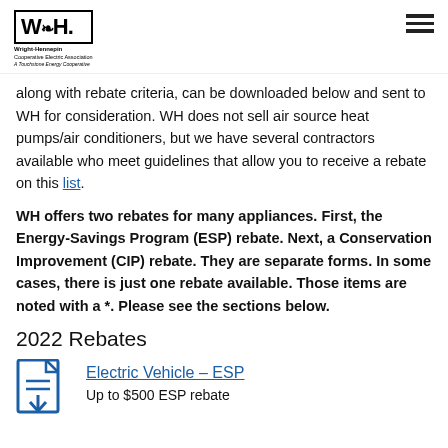Wright-Hennepin logo and navigation menu
along with rebate criteria, can be downloaded below and sent to WH for consideration. WH does not sell air source heat pumps/air conditioners, but we have several contractors available who meet guidelines that allow you to receive a rebate on this list.
WH offers two rebates for many appliances. First, the Energy-Savings Program (ESP) rebate. Next, a Conservation Improvement (CIP) rebate. They are separate forms. In some cases, there is just one rebate available. Those items are noted with a *. Please see the sections below.
2022 Rebates
[Figure (other): Document/PDF icon in dark blue]
Electric Vehicle - ESP
Up to $500 ESP rebate